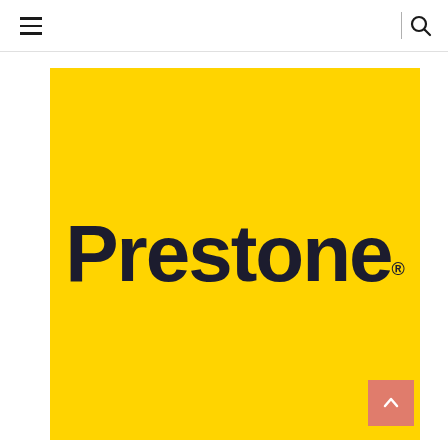Navigation bar with hamburger menu and search icon
[Figure (logo): Prestone brand logo: yellow/gold square background with large bold dark navy 'Prestone' wordmark text and registered trademark symbol]